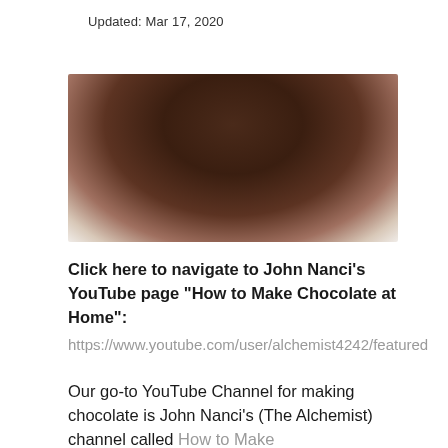Updated: Mar 17, 2020
[Figure (photo): Blurred close-up photo of dark chocolate, showing brown and dark reddish-brown tones fading to lighter cream/white at the bottom.]
Click here to navigate to John Nanci's YouTube page "How to Make Chocolate at Home":
https://www.youtube.com/user/alchemist4242/featured
Our go-to YouTube Channel for making chocolate is John Nanci's (The Alchemist) channel called How to Make